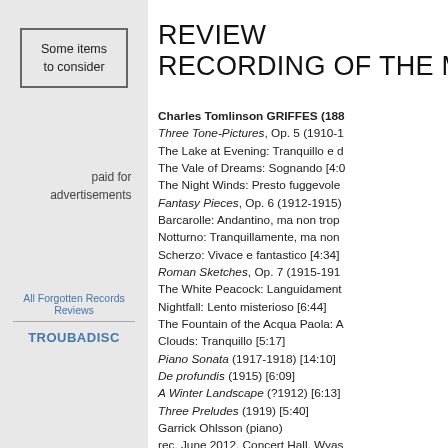Some items to consider
paid for advertisements
All Forgotten Records Reviews
TROUBADISC
REVIEW RECORDING OF THE MONTH
Charles Tomlinson GRIFFES (1884-1920)
Three Tone-Pictures, Op. 5 (1910-1915)
The Lake at Evening: Tranquillo e dolce
The Vale of Dreams: Sognando [4:0...]
The Night Winds: Presto fuggevole
Fantasy Pieces, Op. 6 (1912-1915)
Barcarolle: Andantino, ma non tropp...
Notturno: Tranquillamente, ma non...
Scherzo: Vivace e fantastico [4:34]
Roman Sketches, Op. 7 (1915-1916)
The White Peacock: Languidament...
Nightfall: Lento misterioso [6:44]
The Fountain of the Acqua Paola: A...
Clouds: Tranquillo [5:17]
Piano Sonata (1917-1918) [14:10]
De profundis (1915) [6:09]
A Winter Landscape (?1912) [6:13]
Three Preludes (1919) [5:40]
Garrick Ohlsson (piano)
rec. June 2012, Concert Hall, Wyas...
HYPERION CDA67907 [79:04]